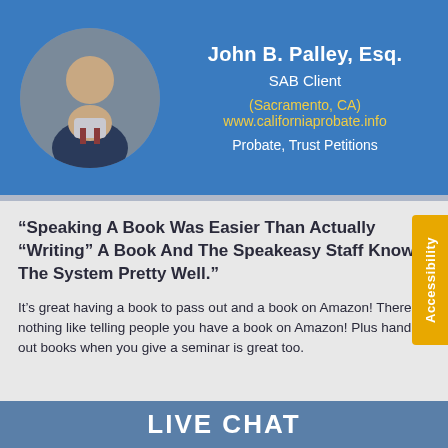[Figure (photo): Circular headshot photo of John B. Palley, Esq., a man in a suit with a tie]
John B. Palley, Esq.
SAB Client
(Sacramento, CA)
www.californiaprobate.info
Probate, Trust Petitions
“Speaking A Book Was Easier Than Actually “Writing” A Book And The Speakeasy Staff Knows The System Pretty Well.”
It’s great having a book to pass out and a book on Amazon! There is nothing like telling people you have a book on Amazon! Plus handing out books when you give a seminar is great too.
LIVE CHAT